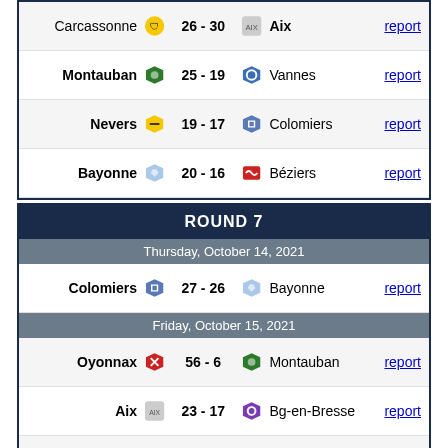| Home | Score | Away | Link |
| --- | --- | --- | --- |
| Carcassonne | 26 - 30 | Aix | report |
| Montauban | 25 - 19 | Vannes | report |
| Nevers | 19 - 17 | Colomiers | report |
| Bayonne | 20 - 16 | Béziers | report |
ROUND 7
Thursday, October 14, 2021
| Home | Score | Away | Link |
| --- | --- | --- | --- |
| Colomiers | 27 - 26 | Bayonne | report |
Friday, October 15, 2021
| Home | Score | Away | Link |
| --- | --- | --- | --- |
| Oyonnax | 56 - 6 | Montauban | report |
| Aix | 23 - 17 | Bg-en-Bresse | report |
| Narbonne | 30 - 33 | Nevers | report |
| Vannes | 46 - 3 | Agen | report |
| Aurillac | 30 - 23 | Carcassonne | report |
| Mt.Marsan | 45 - 8 | Rouen | report |
| Grenoble | 19 - 21 | Béziers | report |